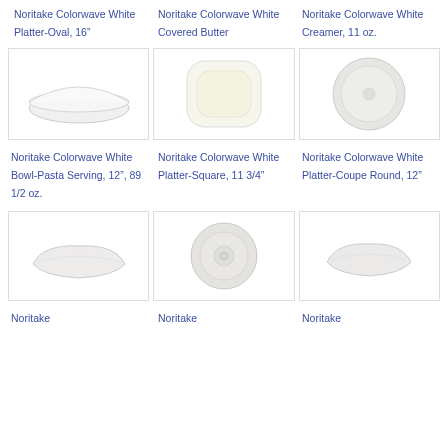Noritake Colorwave White Platter-Oval, 16"
Noritake Colorwave White Covered Butter
Noritake Colorwave White Creamer, 11 oz.
[Figure (photo): White oval serving bowl, shallow]
[Figure (photo): White square platter with rounded corners]
[Figure (photo): White round coupe plate]
Noritake Colorwave White Bowl-Pasta Serving, 12", 89 1/2 oz.
Noritake Colorwave White Platter-Square, 11 3/4"
Noritake Colorwave White Platter-Coupe Round, 12"
[Figure (photo): White curved boat-shaped dish]
[Figure (photo): White saucer with circular indentation]
[Figure (photo): White curved boat-shaped dish, smaller]
Noritake
Noritake
Noritake